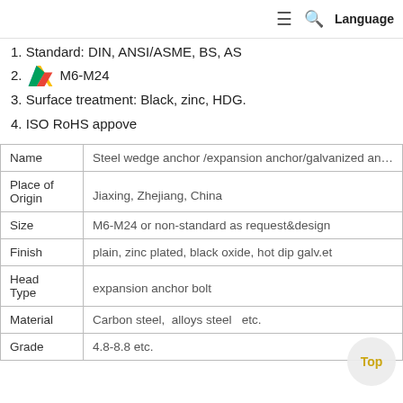≡  🔍  Language
1. Standard: DIN, ANSI/ASME, BS, AS
2. M6-M24
3. Surface treatment: Black, zinc, HDG.
4. ISO RoHS appove
| Name |  |
| --- | --- |
| Name | Steel wedge anchor /expansion anchor/galvanized an... |
| Place of Origin | Jiaxing, Zhejiang, China |
| Size | M6-M24 or non-standard as request&design |
| Finish | plain, zinc plated, black oxide, hot dip galv.et |
| Head Type | expansion anchor bolt |
| Material | Carbon steel,  alloys steel   etc. |
| Grade | 4.8-8.8 etc. |